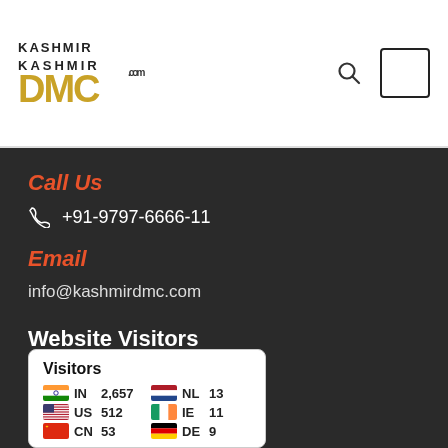[Figure (logo): Kashmir DMC logo with golden stylized letters and .com text]
Call Us
+91-9797-6666-11
Email
info@kashmirdmc.com
Website Visitors
[Figure (other): Visitors widget showing country flags with visitor counts: IN 2,657 | NL 13 | US 512 | IE 11 | CN 53 | DE 9]